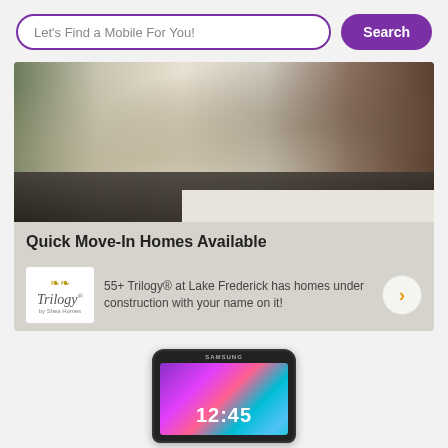Let's Find a Mobile For You!
Search
[Figure (photo): Advertisement card showing a luxury kitchen interior with a dark island counter and dining area. Below the photo: title 'Quick Move-In Homes Available', Trilogy logo, and text '55+ Trilogy® at Lake Frederick has homes under construction with your name on it!']
Quick Move-In Homes Available
55+ Trilogy® at Lake Frederick has homes under construction with your name on it!
[Figure (photo): Samsung Android smartphone showing colorful abstract wallpaper with time display 12:45]